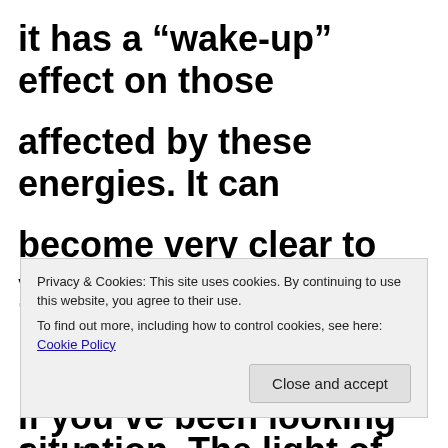it has a “wake-up” effect on those affected by these energies. It can become very clear to you now what needs to happen next in any given situation. The light of this abundance
Privacy & Cookies: This site uses cookies. By continuing to use this website, you agree to their use.
To find out more, including how to control cookies, see here: Cookie Policy
If you’ve been looking for the courage